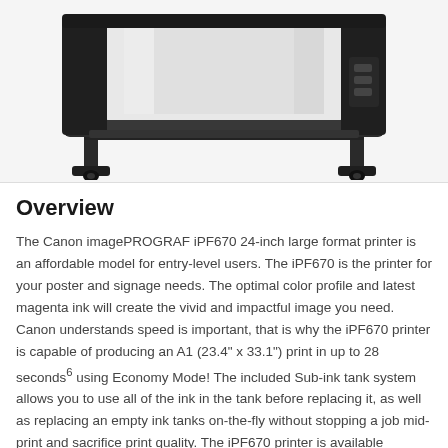[Figure (photo): Canon imagePROGRAF iPF670 large format printer on a wheeled stand, viewed from the front, showing a large white roll of paper loaded in the printer. The printer is black with a wide-format body.]
Overview
The Canon imagePROGRAF iPF670 24-inch large format printer is an affordable model for entry-level users. The iPF670 is the printer for your poster and signage needs. The optimal color profile and latest magenta ink will create the vivid and impactful image you need. Canon understands speed is important, that is why the iPF670 printer is capable of producing an A1 (23.4" x 33.1") print in up to 28 seconds6 using Economy Mode! The included Sub-ink tank system allows you to use all of the ink in the tank before replacing it, as well as replacing an empty ink tanks on-the-fly without stopping a job mid-print and sacrifice print quality. The iPF670 printer is available